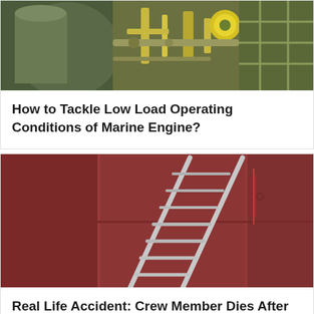[Figure (photo): Marine engine machinery with pipes, valves, and green/yellow industrial equipment]
How to Tackle Low Load Operating Conditions of Marine Engine?
[Figure (photo): A portable ladder leaning against a red ship hull or wall]
Real Life Accident: Crew Member Dies After Falling From Portable Ladder